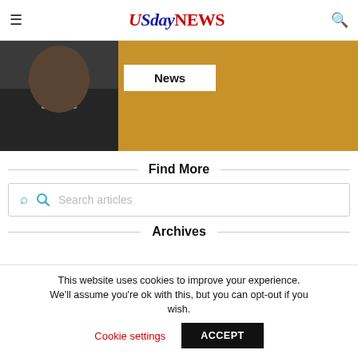USdayNEWS
[Figure (photo): News section image showing a person in a suit with a golden background, with a white overlay label reading 'News']
Find More
Search articles
Archives
Related Stories
This website uses cookies to improve your experience. We'll assume you're ok with this, but you can opt-out if you wish. Cookie settings ACCEPT